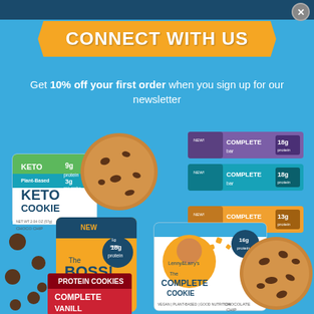CONNECT WITH US
Get 10% off your first order when you sign up for our newsletter
[Figure (photo): Product photo showing assorted Lenny & Larry's cookie and bar products on a blue background, including Keto Cookie, The Boss! Cookie, The Complete Cookie (Chocolate Chip), Protein Cookies, and Complete Bars in various flavors.]